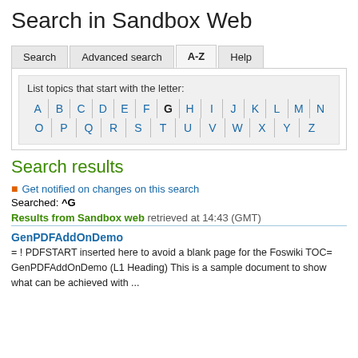Search in Sandbox Web
Search | Advanced search | A-Z | Help
List topics that start with the letter: A B C D E F G H I J K L M N O P Q R S T U V W X Y Z
Search results
Get notified on changes on this search
Searched: ^G
Results from Sandbox web retrieved at 14:43 (GMT)
GenPDFAddOnDemo
= ! PDFSTART inserted here to avoid a blank page for the Foswiki TOC= GenPDFAddOnDemo (L1 Heading) This is a sample document to show what can be achieved with ...